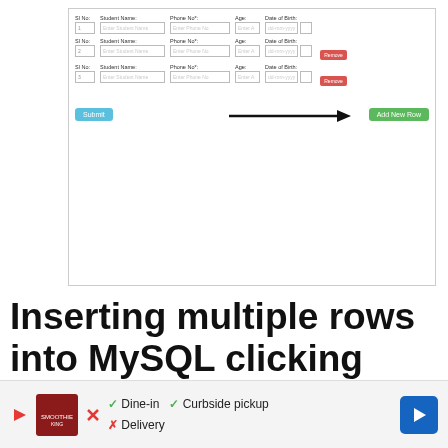[Figure (screenshot): A web form screenshot showing three rows of student data entry fields (Sl No, Student Name, Phone No, Age, Date of Birth) with Remove buttons for rows 2 and 3, a Submit button, and an Add New Row button with an arrow pointing to it.]
Inserting multiple rows into MySQL clicking Add new row button using jquery before submitting the form
When we click add new row button the first time, then we will get the length of the row by using the class of the
[Figure (screenshot): Advertisement banner for Smoothie King showing dine-in, curbside pickup options, no delivery, with a navigation arrow icon.]